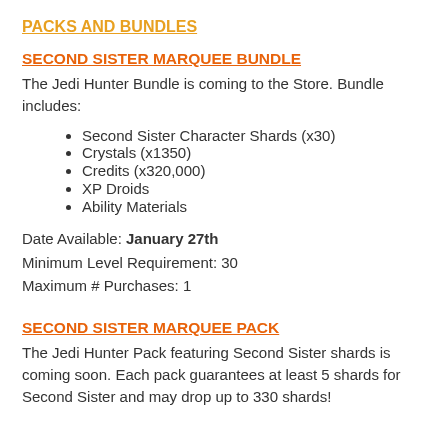PACKS AND BUNDLES
SECOND SISTER MARQUEE BUNDLE
The Jedi Hunter Bundle is coming to the Store. Bundle includes:
Second Sister Character Shards (x30)
Crystals (x1350)
Credits (x320,000)
XP Droids
Ability Materials
Date Available: January 27th
Minimum Level Requirement: 30
Maximum # Purchases: 1
SECOND SISTER MARQUEE PACK
The Jedi Hunter Pack featuring Second Sister shards is coming soon. Each pack guarantees at least 5 shards for Second Sister and may drop up to 330 shards!